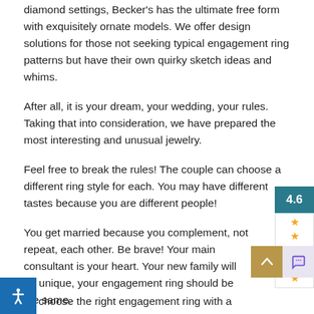diamond settings, Becker's has the ultimate free form with exquisitely ornate models. We offer design solutions for those not seeking typical engagement ring patterns but have their own quirky sketch ideas and whims.
After all, it is your dream, your wedding, your rules. Taking that into consideration, we have prepared the most interesting and unusual jewelry.
Feel free to break the rules! The couple can choose a different ring style for each. You may have different tastes because you are different people!
You get married because you complement, not repeat, each other. Be brave! Your main consultant is your heart. Your new family will be unique, your engagement ring should be the same.
choose the right engagement ring with a stone, you need